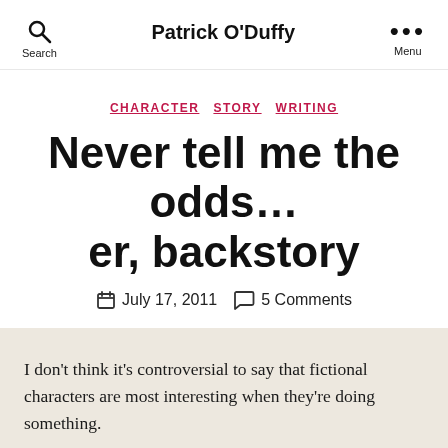Patrick O'Duffy
CHARACTER  STORY  WRITING
Never tell me the odds… er, backstory
July 17, 2011   5 Comments
I don't think it's controversial to say that fictional characters are most interesting when they're doing something.